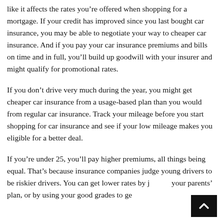like it affects the rates you're offered when shopping for a mortgage. If your credit has improved since you last bought car insurance, you may be able to negotiate your way to cheaper car insurance. And if you pay your car insurance premiums and bills on time and in full, you'll build up goodwill with your insurer and might qualify for promotional rates.
If you don't drive very much during the year, you might get cheaper car insurance from a usage-based plan than you would from regular car insurance. Track your mileage before you start shopping for car insurance and see if your low mileage makes you eligible for a better deal.
If you're under 25, you'll pay higher premiums, all things being equal. That's because insurance companies judge young drivers to be riskier drivers. You can get lower rates by joining your parents' plan, or by using your good grades to get
[Figure (other): Back to top button — black square with white upward chevron arrow]